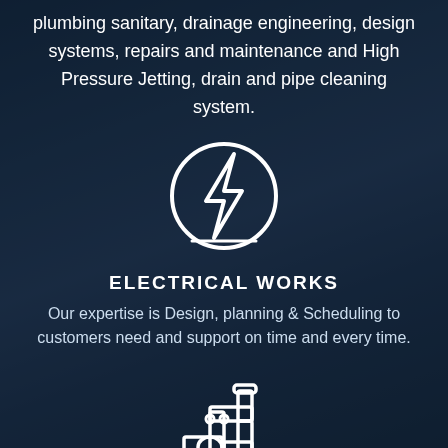plumbing sanitary, drainage engineering, design systems, repairs and maintenance and High Pressure Jetting, drain and pipe cleaning system.
[Figure (illustration): White outline icon of a lightning bolt inside a circle, representing electrical works]
ELECTRICAL WORKS
Our expertise is Design, planning & Scheduling to customers need and support on time and every time.
[Figure (illustration): White outline icon of a plumbing/pipe system with a water drop, representing plumbing works]